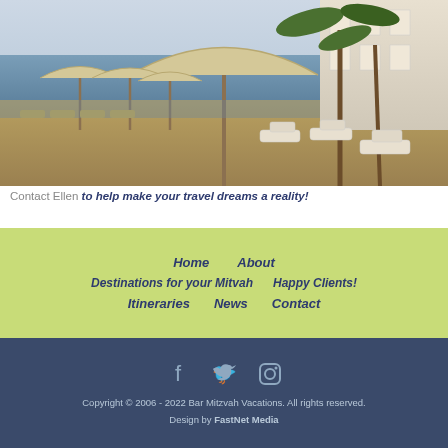[Figure (photo): Resort pool area with lounge chairs, large beach umbrellas, palm trees, and a building on the right, ocean visible in the background]
Contact Ellen to help make your travel dreams a reality!
Home   About   Destinations for your Mitvah   Happy Clients!   Itineraries   News   Contact
Copyright © 2006 - 2022 Bar Mitzvah Vacations. All rights reserved.
Design by FastNet Media